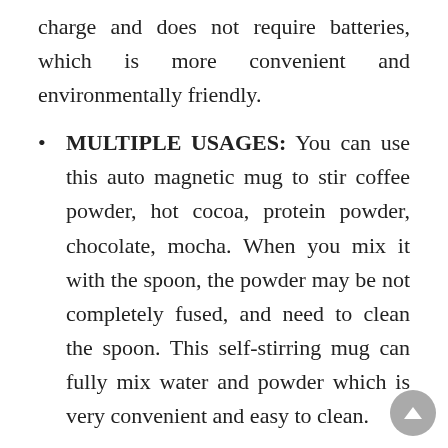charge and does not require batteries, which is more convenient and environmentally friendly.
MULTIPLE USAGES: You can use this auto magnetic mug to stir coffee powder, hot cocoa, protein powder, chocolate, mocha. When you mix it with the spoon, the powder may be not completely fused, and need to clean the spoon. This self-stirring mug can fully mix water and powder which is very convenient and easy to clean.
EASY TO CLEAN AND CARRY: Are you bothered about washing the cup after making your coffee is hot cocoa? This automatic mixing cup uses detachable magnetic stirring inside and a stainless steel liner, which is very easy to clean makes you no longer worry about rinsing the cup. Meanwhile, the moderate size makes it easy to carry anywhere.
CREATIVE PRESENT: It is a good choice to give this self-stirring coffee mug as a gift for anniversaries,